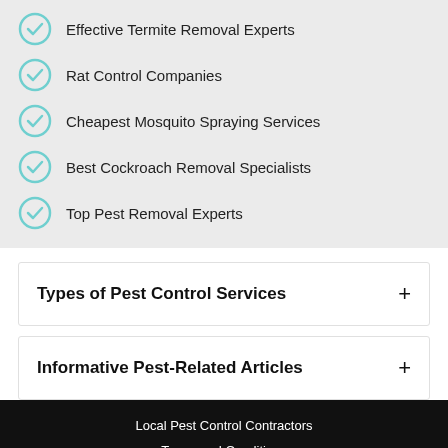Effective Termite Removal Experts
Rat Control Companies
Cheapest Mosquito Spraying Services
Best Cockroach Removal Specialists
Top Pest Removal Experts
Types of Pest Control Services
Informative Pest-Related Articles
Local Pest Control Contractors
Terms and Conditions